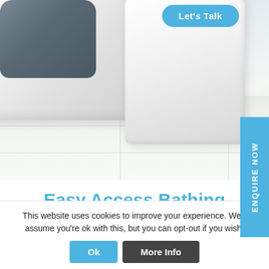[Figure (photo): Photograph of a white easy-access bathtub with door opening on a light tiled floor. The tub has a rectangular opening/door on the left side. A second white tub or bath unit is visible on the right. The floor has large pale tiles with grid lines.]
Let's Talk
ENQUIRE NOW
Easy Access Bathing
This website uses cookies to improve your experience. We'll assume you're ok with this, but you can opt-out if you wish.
Ok
More Info